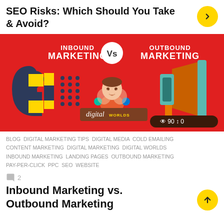SEO Risks: Which Should You Take & Avoid?
[Figure (infographic): Inbound Marketing vs Outbound Marketing infographic on red background with magnet icon, person icon, and megaphone icon. Shows 'INBOUND MARKETING Vs OUTBOUND MARKETING' with 'digital WORLDS' branding and stats showing 90 views and 0 shares.]
BLOG  DIGITAL MARKETING TIPS  DIGITAL MEDIA  COLD EMAILING  CONTENT MARKETING  DIGITAL MARKETING  DIGITAL WORLDS  INBOUND MARKETING  LANDING PAGES  OUTBOUND MARKETING  PAY-PER-CLICK  PPC  SEO  WEBSITE
2
Inbound Marketing vs. Outbound Marketing